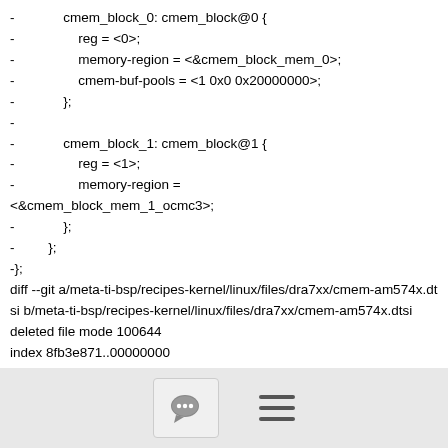-             cmem_block_0: cmem_block@0 {
-                 reg = <0>;
-                 memory-region = <&cmem_block_mem_0>;
-                 cmem-buf-pools = <1 0x0 0x20000000>;
-             };
-
-             cmem_block_1: cmem_block@1 {
-                 reg = <1>;
-                 memory-region =
<&cmem_block_mem_1_ocmc3>;
-             };
-         };
-};
diff --git a/meta-ti-bsp/recipes-kernel/linux/files/dra7xx/cmem-am574x.dtsi b/meta-ti-bsp/recipes-kernel/linux/files/dra7xx/cmem-am574x.dtsi
deleted file mode 100644
index 8fb3e871..00000000
--- a/meta-ti-bsp/recipes-kernel/linux/files/dra7xx/cmem-
[Figure (other): Footer bar with comment/chat icon button and hamburger menu icon]